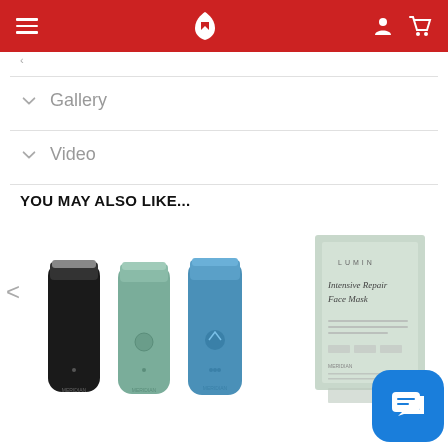Navigation header with menu, logo, account and cart icons
Gallery
Video
YOU MAY ALSO LIKE...
[Figure (photo): Three electric shavers/trimmers in black, green, and blue colors with Meridian branding]
[Figure (photo): Lumin Intensive Repair Face Mask product package in sage green color]